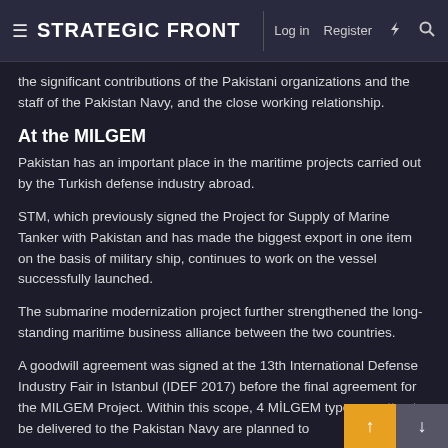STRATEGIC FRONT | Log in | Register
the significant contributions of the Pakistani organizations and the staff of the Pakistan Navy, and the close working relationship.
At the MILGEM
Pakistan has an important place in the maritime projects carried out by the Turkish defense industry abroad.
STM, which previously signed the Project for Supply of Marine Tanker with Pakistan and has made the biggest export in one item on the basis of military ship, continues to work on the vessel successfully launched.
The submarine modernization project further strengthened the long-standing maritime business alliance between the two countries.
A goodwill agreement was signed at the 13th International Defense Industry Fair in Istanbul (IDEF 2017) before the final agreement for the MILGEM Project. Within this scope, 4 MİLGEM type corvettes to be delivered to the Pakistan Navy are planned to